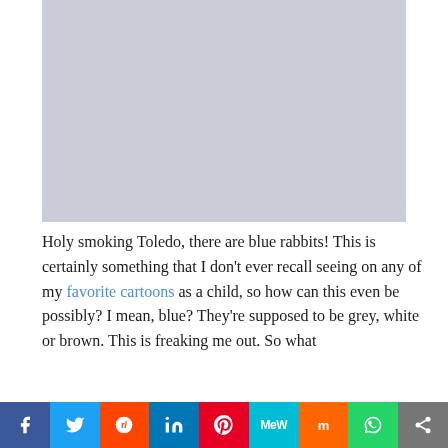[Figure (photo): Grey-blue placeholder image rectangle]
Holy smoking Toledo, there are blue rabbits! This is certainly something that I don't ever recall seeing on any of my favorite cartoons as a child, so how can this even be possibly? I mean, blue? They're supposed to be grey, white or brown. This is freaking me out. So what
[Figure (infographic): Social sharing bar with buttons: Facebook, Twitter, Reddit, LinkedIn, Pinterest, MeWe, Mix, WhatsApp, Share]